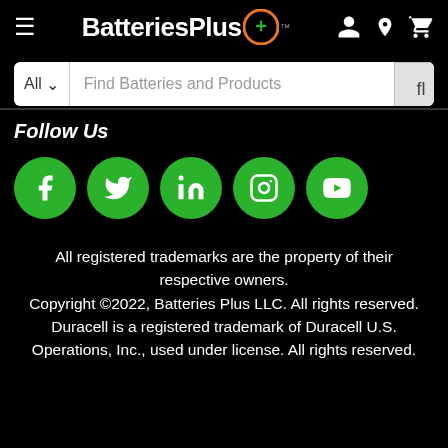[Figure (logo): BatteriesPlus logo with orange circular plus icon on black header bar with hamburger menu and icons for account, location, cart]
[Figure (screenshot): Search bar with All dropdown and Find Batteries and Products placeholder text and search button]
Follow Us
[Figure (other): Row of 5 green circle social media icons: Facebook, Twitter, LinkedIn, Instagram, YouTube]
All registered trademarks are the property of their respective owners. Copyright ©2022, Batteries Plus LLC. All rights reserved. Duracell is a registered trademark of Duracell U.S. Operations, Inc., used under license. All rights reserved.